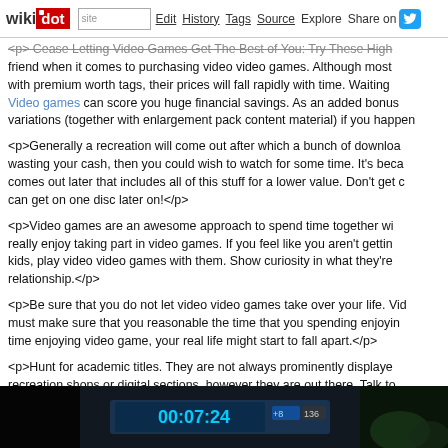wikidot | site | Edit | History | Tags | Source | Explore | Share on [Twitter]
<p> Cease Letting Video Games Get The Best of You: Try These High friend when it comes to purchasing video video games. Although most with premium worth tags, their prices will fall rapidly with time. Waiting Video games can score you huge financial savings. As an added bonus variations (together with enlargement pack content material) if you happen
<p>Generally a recreation will come out after which a bunch of downloa wasting your cash, then you could wish to watch for some time. It's beca comes out later that includes all of this stuff for a lower value. Don't get c can get on one disc later on!</p>
<p>Video games are an awesome approach to spend time together wi really enjoy taking part in video games. If you feel like you aren't gettin kids, play video video games with them. Show curiosity in what they're relationship.</p>
<p>Be sure that you do not let video video games take over your life. Vid must make sure that you reasonable the time that you spending enjoyin time enjoying video game, your real life might start to fall apart.</p>
<p>Hunt for academic titles. They are not always prominently displaye recreation shops or digital sections, however they are out there. Talk to particular solutions, as titles exist that assist out with studying lang arithmetic.</p>
[Figure (screenshot): Video game screenshot showing a timer displaying 00:07:24 with game HUD elements on a dark background]